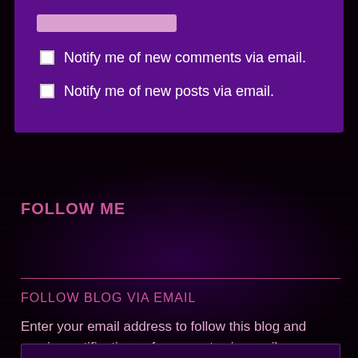Notify me of new comments via email.
Notify me of new posts via email.
FOLLOW ME
FOLLOW BLOG VIA EMAIL
Enter your email address to follow this blog and receive notifications of new posts via email.